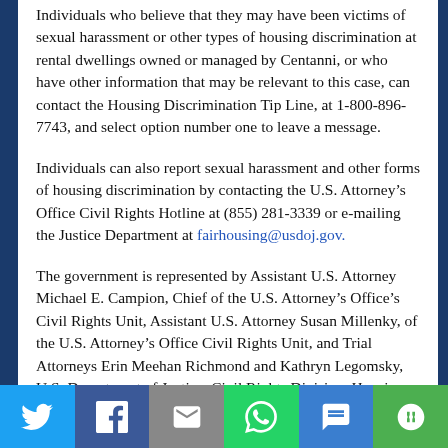Individuals who believe that they may have been victims of sexual harassment or other types of housing discrimination at rental dwellings owned or managed by Centanni, or who have other information that may be relevant to this case, can contact the Housing Discrimination Tip Line, at 1-800-896-7743, and select option number one to leave a message.
Individuals can also report sexual harassment and other forms of housing discrimination by contacting the U.S. Attorney’s Office Civil Rights Hotline at (855) 281-3339 or e-mailing the Justice Department at fairhousing@usdoj.gov.
The government is represented by Assistant U.S. Attorney Michael E. Campion, Chief of the U.S. Attorney’s Office’s Civil Rights Unit, Assistant U.S. Attorney Susan Millenky, of the U.S. Attorney’s Office Civil Rights Unit, and Trial Attorneys Erin Meehan Richmond and Kathryn Legomsky, U.S. Department of Justice, Civil Rights Division, Housing and Civil Enforcement Section.